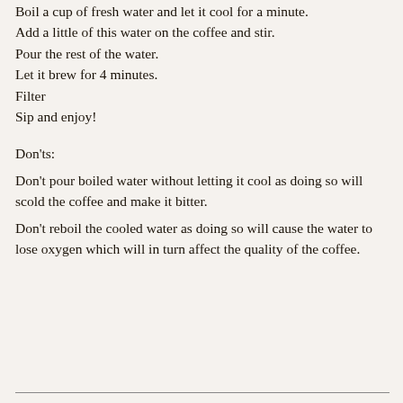Take 2 or 2.5 (7 g) heaped tea spoons of coffee per cup.
Boil a cup of fresh water and let it cool for a minute.
Add a little of this water on the coffee and stir.
Pour the rest of the water.
Let it brew for 4 minutes.
Filter
Sip and enjoy!
Don'ts:
Don't pour boiled water without letting it cool as doing so will scold the coffee and make it bitter.
Don't reboil the cooled water as doing so will cause the water to lose oxygen which will in turn affect the quality of the coffee.